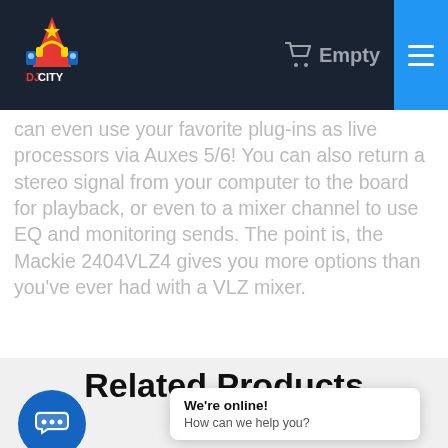DJ City — Empty (cart)
can even use your favorite plug-ins as live processors via Auxes 5/6! You can also return a stereo signal from your computer to the board for playback, or even to a mixer channel to use EQ and monitoring sends. The point is, the Mackie 2404VLZ4 gives you more options than you've ever had with a VLZ mixer.
Related Products
We're online! How can we help you?